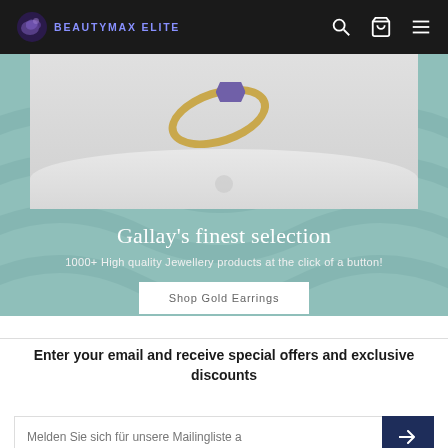BEAUTYMAX ELITE
[Figure (screenshot): Hero banner showing a gold ring with purple gemstone on a light background, overlaid on a sage/teal green decorative background with wavy pattern]
Gallay's finest selection
1000+ High quality Jewellery products at the click of a button!
Shop Gold Earrings
Enter your email and receive special offers and exclusive discounts
Melden Sie sich für unsere Mailingliste a